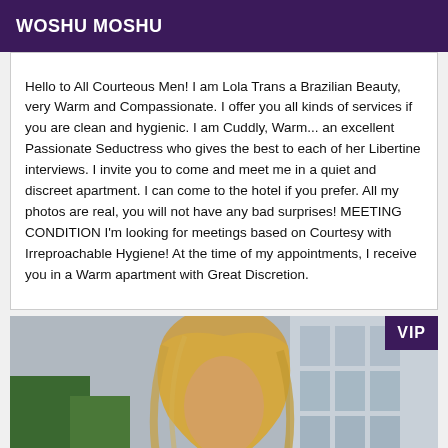WOSHU MOSHU
Hello to All Courteous Men! I am Lola Trans a Brazilian Beauty, very Warm and Compassionate. I offer you all kinds of services if you are clean and hygienic. I am Cuddly, Warm... an excellent Passionate Seductress who gives the best to each of her Libertine interviews. I invite you to come and meet me in a quiet and discreet apartment. I can come to the hotel if you prefer. All my photos are real, you will not have any bad surprises! MEETING CONDITION I'm looking for meetings based on Courtesy with Irreproachable Hygiene! At the time of my appointments, I receive you in a Warm apartment with Great Discretion.
[Figure (photo): Outdoor photo of a person with blonde/brown hair in front of a glass building with trees visible. VIP badge in top-right corner.]